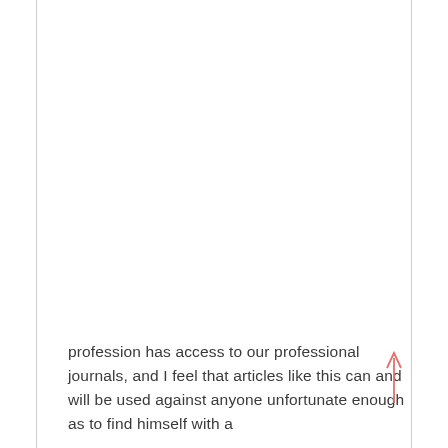profession has access to our professional journals, and I feel that articles like this can and will be used against anyone unfortunate enough as to find himself with a